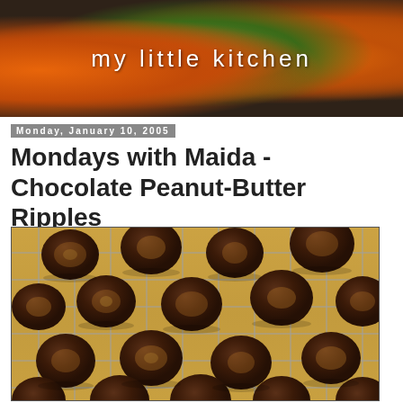[Figure (photo): Blog header banner with fruit (oranges and green citrus) in dark background with 'my little kitchen' title text in white]
Monday, January 10, 2005
Mondays with Maida - Chocolate Peanut-Butter Ripples
[Figure (photo): Chocolate peanut-butter ripple cookies cooling on a wire rack over a wooden surface. Multiple round dark chocolate cookies with peanut butter swirls visible, arranged in rows on a metal cooling rack.]